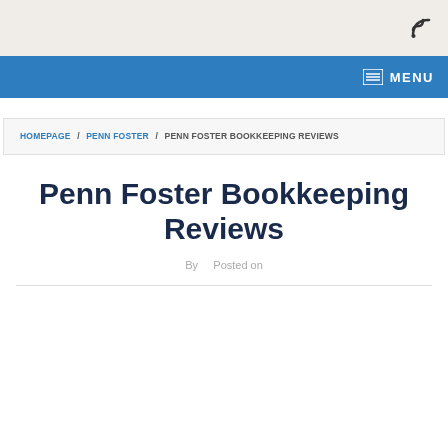RSS icon
MENU
HOMEPAGE / PENN FOSTER / PENN FOSTER BOOKKEEPING REVIEWS
Penn Foster Bookkeeping Reviews
By   Posted on